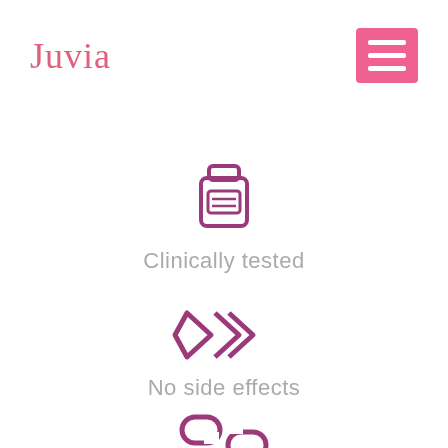Juvia
[Figure (logo): Pink hamburger menu icon (three white horizontal lines on pink/hot-pink square background)]
[Figure (illustration): Purple outline icon of a pill/medicine bottle with a label rectangle on it]
Clinically tested
[Figure (illustration): Purple outline icon of two diamond/chevron arrows pointing outward (no side effects symbol)]
No side effects
[Figure (illustration): Purple outline icon of two chain links interlocked diagonally]